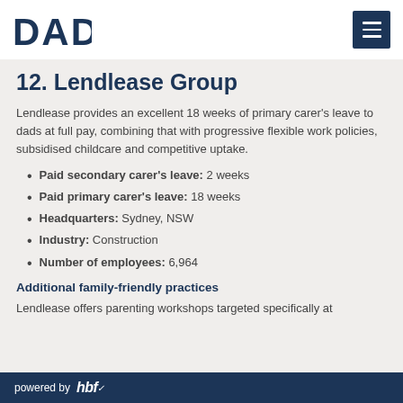DAD [logo with hamburger menu]
12. Lendlease Group
Lendlease provides an excellent 18 weeks of primary carer's leave to dads at full pay, combining that with progressive flexible work policies, subsidised childcare and competitive uptake.
Paid secondary carer's leave: 2 weeks
Paid primary carer's leave: 18 weeks
Headquarters: Sydney, NSW
Industry: Construction
Number of employees: 6,964
Additional family-friendly practices
Lendlease offers parenting workshops targeted specifically at
powered by hbf